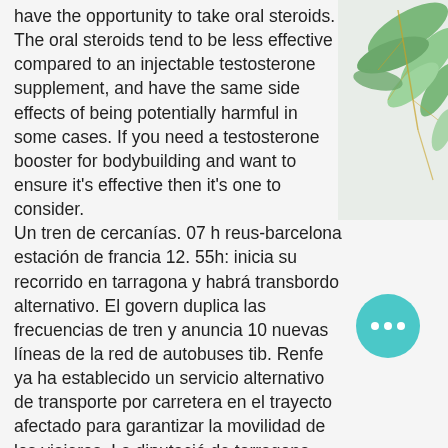have the opportunity to take oral steroids. The oral steroids tend to be less effective compared to an injectable testosterone supplement, and have the same side effects of being potentially harmful in some cases. If you need a testosterone booster for bodybuilding and want to ensure it's effective then it's one to consider. Un tren de cercanías. 07 h reus-barcelona estación de francia 12. 55h: inicia su recorrido en tarragona y habrá transbordo alternativo. El govern duplica las frecuencias de tren y anuncia 10 nuevas líneas de la red de autobuses tib. Renfe ya ha establecido un servicio alternativo de transporte por carretera en el trayecto afectado para garantizar la movilidad de los viajeros. La diputació de tarragona reclama el tren-tram. L'alta velocitat ja connecta el camp de tarragona amb madrid i barcelona, i tanmateix no hi 1 x andarine s4 1 x shred up stenabolic
[Figure (illustration): Decorative botanical illustration with green leaves and golden branch in the top-right corner]